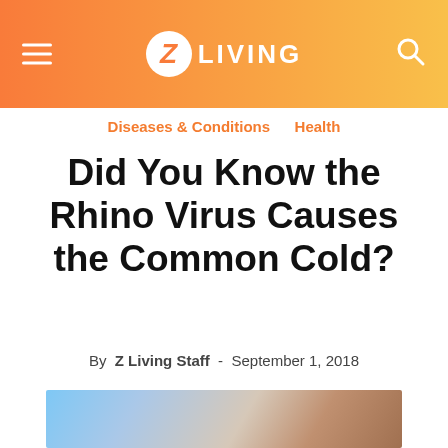Z Living
Diseases & Conditions   Health
Did You Know the Rhino Virus Causes the Common Cold?
By Z Living Staff - September 1, 2018
[Figure (photo): Photo of a person, partially visible, with blurred colorful background]